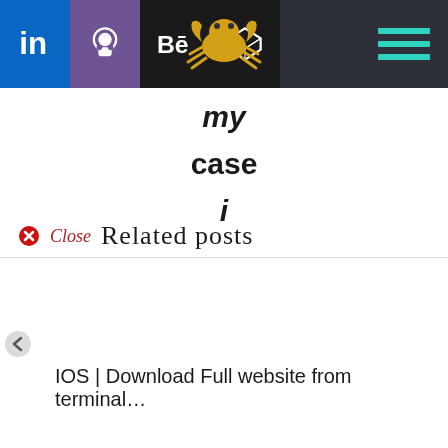[Figure (screenshot): Website navigation bar with social media icons (LinkedIn, GitHub, Behance, CodePen), a yellow crab logo in the center, and a teal hamburger menu on the right. Dark background (#2d3038).]
my case i
Close Related posts
IOS | Download Full website from terminal…